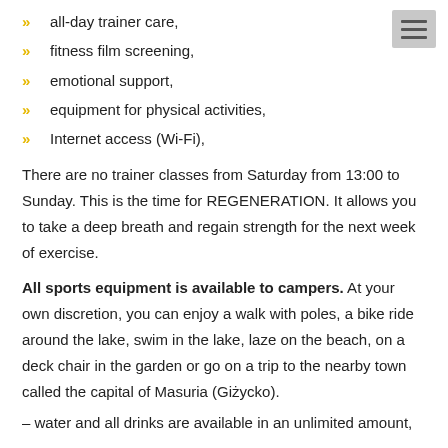all-day trainer care,
fitness film screening,
emotional support,
equipment for physical activities,
Internet access (Wi-Fi),
There are no trainer classes from Saturday from 13:00 to Sunday. This is the time for REGENERATION. It allows you to take a deep breath and regain strength for the next week of exercise.
All sports equipment is available to campers. At your own discretion, you can enjoy a walk with poles, a bike ride around the lake, swim in the lake, laze on the beach, on a deck chair in the garden or go on a trip to the nearby town called the capital of Masuria (Giżycko).
– water and all drinks are available in an unlimited amount,